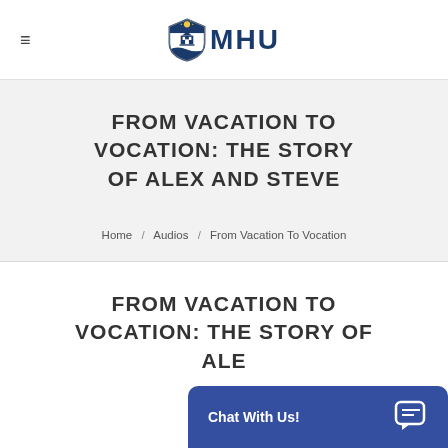≡  MHU
FROM VACATION TO VOCATION: THE STORY OF ALEX AND STEVE
Home / Audios / From Vacation To Vocation
FROM VACATION TO VOCATION: THE STORY OF ALE...